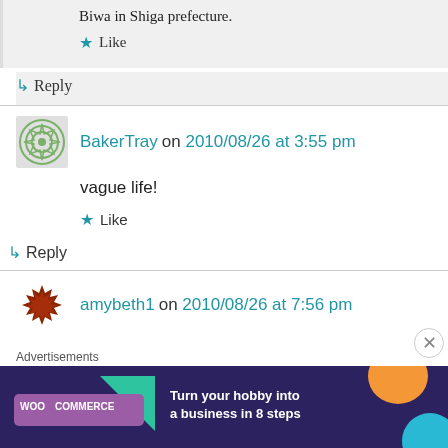Biwa in Shiga prefecture.
Like
Reply
BakerTray on 2010/08/26 at 3:55 pm
vague life!
Like
Reply
amybeth1 on 2010/08/26 at 7:56 pm
Advertisements
[Figure (other): WooCommerce advertisement banner: Turn your hobby into a business in 8 steps]